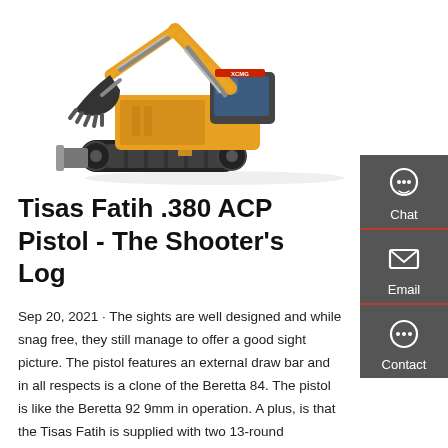[Figure (photo): Yellow XCMG mini excavator / compact hydraulic excavator on white background, with bucket arm raised and rubber tracks visible]
Tisas Fatih .380 ACP Pistol - The Shooter's Log
Sep 20, 2021 · The sights are well designed and while snag free, they still manage to offer a good sight picture. The pistol features an external draw bar and in all respects is a clone of the Beretta 84. The pistol is like the Beretta 92 9mm in operation. A plus, is that the Tisas Fatih is supplied with two 13-round magazines. This makes for a good reserve